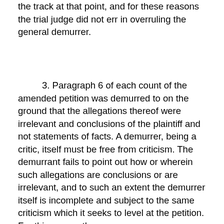the track at that point, and for these reasons the trial judge did not err in overruling the general demurrer.
3. Paragraph 6 of each count of the amended petition was demurred to on the ground that the allegations thereof were irrelevant and conclusions of the plaintiff and not statements of facts. A demurrer, being a critic, itself must be free from criticism. The demurrant fails to point out how or wherein such allegations are conclusions or are irrelevant, and to such an extent the demurrer itself is incomplete and subject to the same criticism which it seeks to level at the petition. For this reason the